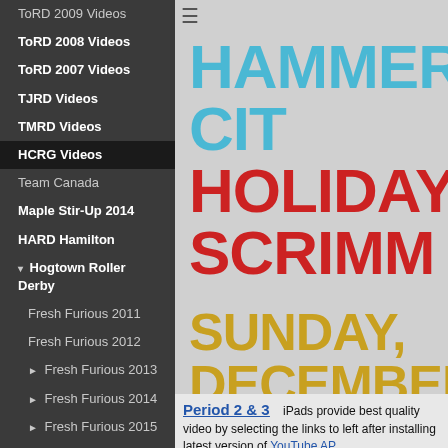ToRD 2009 Videos
ToRD 2008 Videos
ToRD 2007 Videos
TJRD Videos
TMRD Videos
HCRG Videos
Team Canada
Maple Stir-Up 2014
HARD Hamilton
▾ Hogtown Roller Derby
Fresh Furious 2011
Fresh Furious 2012
► Fresh Furious 2013
► Fresh Furious 2014
► Fresh Furious 2015
► Fresh Furious 2016
Fresh Furious 2017
Fresh Furious 2018
Fresh Furious 2019
Toronto Rollergettes
▾ Tri City Roller Derby
Beaver Fever 2017
Put Up Your Toques 2018
[Figure (screenshot): Event poster for HCRG Hammer City Holiday Scrimmage on Sunday, December 18]
[Figure (screenshot): YouTube video thumbnail for Period 1 of HCRG Hammer City Holiday Scrimmage]
Period 2 & 3   iPads provide best quality video by selecting the links to left after installing latest version of YouTube AP
For Best Quality YouTube viewing on PCs hit play below then select 720HD or 1080HD and use full screen
[Figure (screenshot): HCRG Hammer City Holiday video thumbnail at bottom]